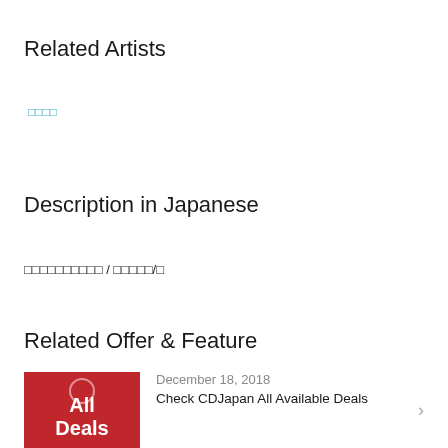Related Artists
□□□□
Description in Japanese
□□□□□□□□□□ / □□□□□/□
Related Offer & Feature
December 18, 2018
Check CDJapan All Available Deals